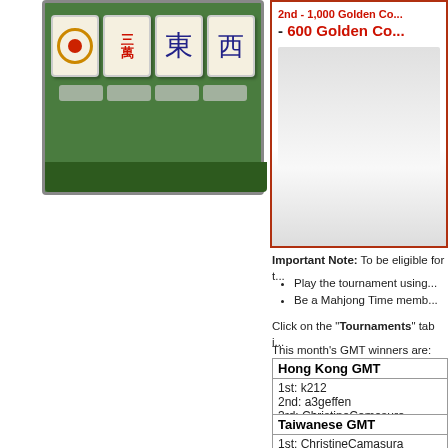[Figure (screenshot): Mahjong online game screenshot showing four mahjong tiles (circle, wan, east, west) on a green game board background]
3rd - 600 Golden Co...
Important Note: To be eligible for t...
Play the tournament using...
Be a Mahjong Time memb...
Click on the "Tournaments" tab i...
This month's GMT winners are:
| Hong Kong GMT |
| --- |
| 1st: k212 |
| 2nd: a3geffen |
| 3rd: ChristineCamasura |
| Taiwanese GMT |
| --- |
| 1st: ChristineCamasura |
| 2nd: mack37 |
| 3rd: tonyfurukawa |
Thanks to all those who participa...